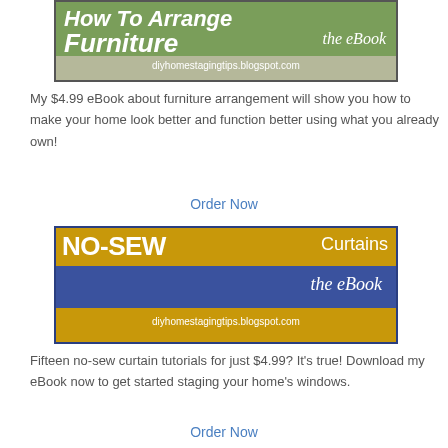[Figure (illustration): eBook cover for 'How To Arrange Furniture the eBook' from diyhomestagingtips.blogspot.com with green and tan background]
My $4.99 eBook about furniture arrangement will show you how to make your home look better and function better using what you already own!
Order Now
[Figure (illustration): eBook cover for 'NO-SEW Curtains the eBook' from diyhomestagingtips.blogspot.com with gold and blue background]
Fifteen no-sew curtain tutorials for just $4.99? It's true! Download my eBook now to get started staging your home's windows.
Order Now